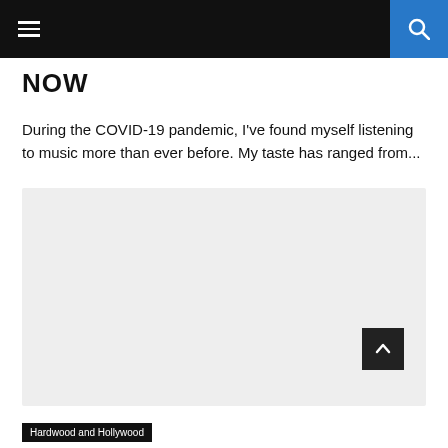Navigation bar with hamburger menu and search button
NOW
During the COVID-19 pandemic, I've found myself listening to music more than ever before. My taste has ranged from...
[Figure (photo): Gray placeholder image block]
Hardwood and Hollywood